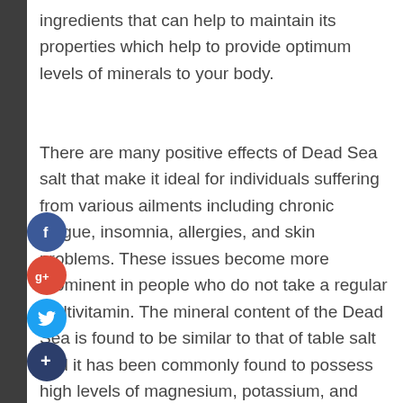ingredients that can help to maintain its properties which help to provide optimum levels of minerals to your body.
There are many positive effects of Dead Sea salt that make it ideal for individuals suffering from various ailments including chronic fatigue, insomnia, allergies, and skin problems. These issues become more prominent in people who do not take a regular multivitamin. The mineral content of the Dead Sea is found to be similar to that of table salt and it has been commonly found to possess high levels of magnesium, potassium, and sodium. The magnesium content of Dead Sea is about 50 percent higher than that of regular sea salt. Some studies have indicated that daily intake of Dead Sea salt can increase blood pressure and lower cholesterol levels.
[Figure (infographic): Social sharing buttons: Facebook (blue circle with f), Google+ (red circle with g+), Twitter (blue circle with bird icon), Add/Share (dark blue circle with plus sign)]